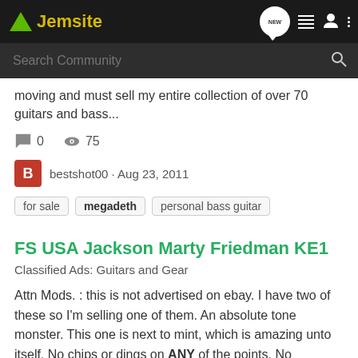[Figure (screenshot): Jemsite website navigation bar with logo (green triangle + yellow 'Jemsite' text), search bar, and nav icons (NEW bubble, list, user, dots)]
moving and must sell my entire collection of over 70 guitars and bass...
0   75
bestshot00 · Aug 23, 2011
for sale
megadeth
personal bass guitar
FS USA Jackson Marty Friedman KE1
Classified Ads: Guitars and Gear
Attn Mods. : this is not advertised on ebay. I have two of these so I'm selling one of them. An absolute tone monster. This one is next to mint, which is amazing unto itself. No chips or dings on ANY of the points. No hardware corrosion, hardly any fret wear what-so-ever to speak of. Perfect...